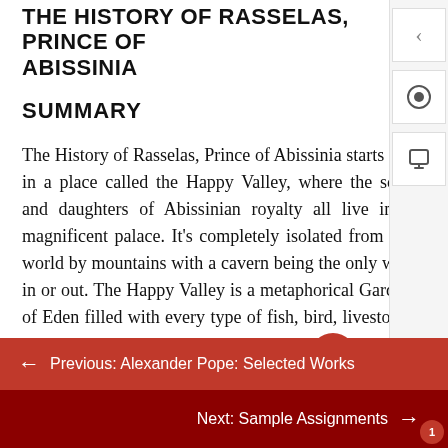THE HISTORY OF RASSELAS, PRINCE OF ABISSINIA
SUMMARY
The History of Rasselas, Prince of Abissinia starts out in a place called the Happy Valley, where the sons and daughters of Abissinian royalty all live in a magnificent palace. It's completely isolated from the world by mountains with a cavern being the only way in or out. The Happy Valley is a metaphorical Garden of Eden filled with every type of fish, bird, livestock, and docile animal, as well as spices, [scroll button], fruits, and everything needed to live comfortably all the days of one's life.
← Previous: Alexander Pope: Selected Works
Next: Sample Assignments →